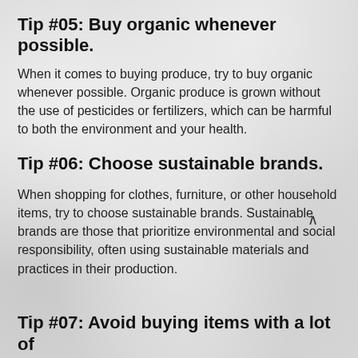Tip #05: Buy organic whenever possible.
When it comes to buying produce, try to buy organic whenever possible. Organic produce is grown without the use of pesticides or fertilizers, which can be harmful to both the environment and your health.
Tip #06: Choose sustainable brands.
When shopping for clothes, furniture, or other household items, try to choose sustainable brands. Sustainable brands are those that prioritize environmental and social responsibility, often using sustainable materials and practices in their production.
Tip #07: Avoid buying items with a lot of